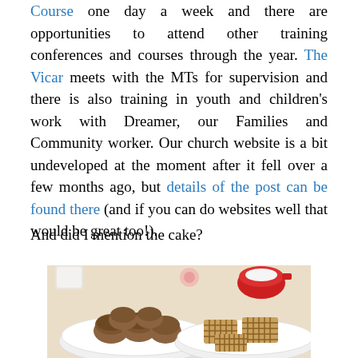Course one day a week and there are opportunities to attend other training conferences and courses through the year. The Vicar meets with the MTs for supervision and there is also training in youth and children's work with Dreamer, our Families and Community worker. Our church website is a bit undeveloped at the moment after it fell over a few months ago, but details of the post can be found there (and if you can do websites well that would be great too!).
And did I mention the cake?
[Figure (photo): Photo of two white plates on a table: one plate with brown round muffins/buns, another plate with lattice-style pastry pieces. A red ceramic pot and other items visible in the background on a light-colored tablecloth.]